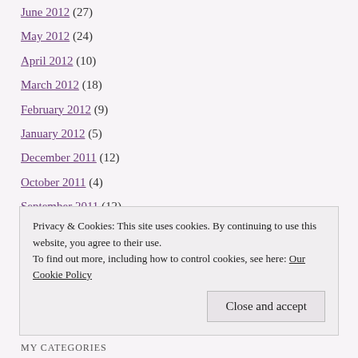June 2012 (27)
May 2012 (24)
April 2012 (10)
March 2012 (18)
February 2012 (9)
January 2012 (5)
December 2011 (12)
October 2011 (4)
September 2011 (12)
August 2011 (5)
July 2011 (8)
June 2011 (5)
May 2011 (5)
Privacy & Cookies: This site uses cookies. By continuing to use this website, you agree to their use.
To find out more, including how to control cookies, see here: Our Cookie Policy
MY CATEGORIES